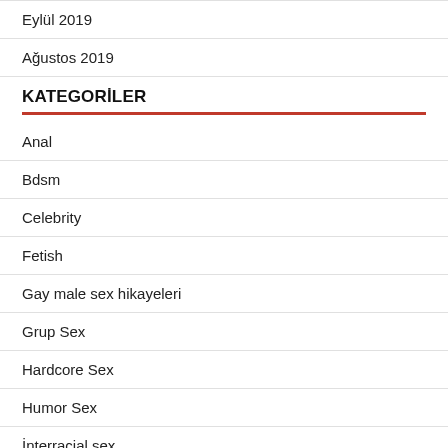Eylül 2019
Ağustos 2019
KATEGORİLER
Anal
Bdsm
Celebrity
Fetish
Gay male sex hikayeleri
Grup Sex
Hardcore Sex
Humor Sex
İnterracial sex
Masturbasyon Sex